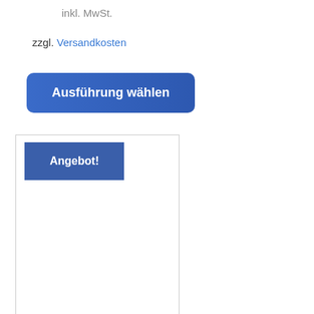inkl. MwSt.
zzgl. Versandkosten
Ausführung wählen
[Figure (screenshot): A bordered white box containing a blue 'Angebot!' label button in the top-left corner]
Angebot!
W...